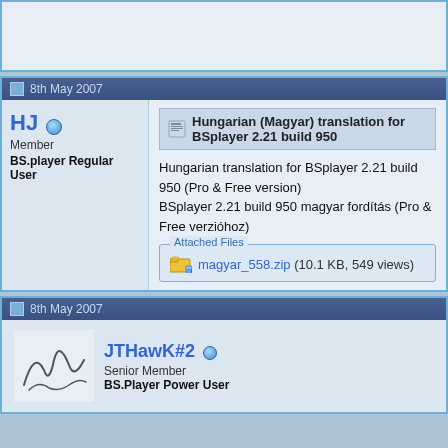(partial top post block)
8th May 2007
HJ
Member
BS.player Regular User
Hungarian (Magyar) translation for BSplayer 2.21 build 950
Hungarian translation for BSplayer 2.21 build 950 (Pro & Free version)
BSplayer 2.21 build 950 magyar fordítás (Pro & Free verzióhoz)
Attached Files
magyar_558.zip (10.1 KB, 549 views)
8th May 2007
JTHawK#2
Senior Member
BS.Player Power User